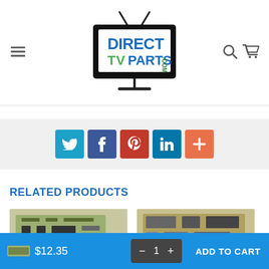[Figure (logo): Direct TV Parts website logo — a TV set illustration with antenna, showing 'DIRECT TV PARTS .COM' text. 'DIRECT' and 'PARTS' in blue, 'TV' in green, '.COM' in dark green.]
[Figure (infographic): Social sharing buttons row: Twitter (light blue), Facebook (dark blue), Pinterest (red), LinkedIn (teal), Plus/More (orange)]
RELATED PRODUCTS
[Figure (photo): Two product thumbnail images of TV circuit boards/parts at the bottom of the page]
$12.35
1
ADD TO CART